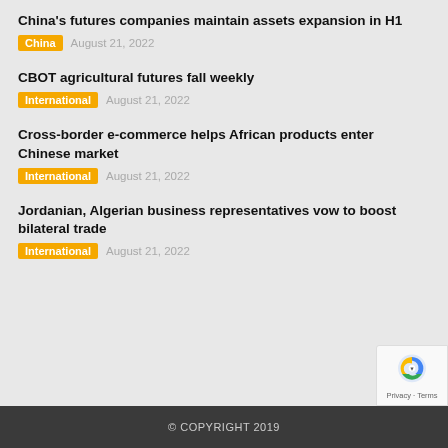China's futures companies maintain assets expansion in H1
China  August 21, 2022
CBOT agricultural futures fall weekly
International  August 21, 2022
Cross-border e-commerce helps African products enter Chinese market
International  August 21, 2022
Jordanian, Algerian business representatives vow to boost bilateral trade
International  August 21, 2022
© COPYRIGHT 2019